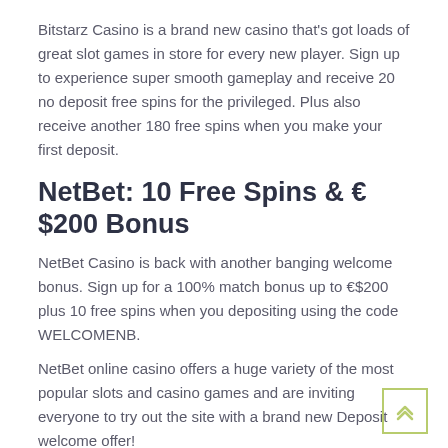Bitstarz Casino is a brand new casino that's got loads of great slot games in store for every new player. Sign up to experience super smooth gameplay and receive 20 no deposit free spins for the privileged. Plus also receive another 180 free spins when you make your first deposit.
NetBet: 10 Free Spins & € $200 Bonus
NetBet Casino is back with another banging welcome bonus. Sign up for a 100% match bonus up to €$200 plus 10 free spins when you depositing using the code WELCOMENB.
NetBet online casino offers a huge variety of the most popular slots and casino games and are inviting everyone to try out the site with a brand new Deposit welcome offer!
Spinit Casino: 21 Free Spins No Deposit!